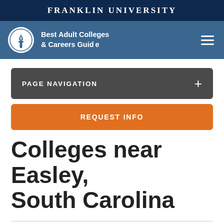FRANKLIN UNIVERSITY
[Figure (logo): Franklin University Best Adult Colleges & Careers Guide logo with torch icon in a circle]
PAGE NAVIGATION
REQUEST INFO
Colleges near Easley, South Carolina